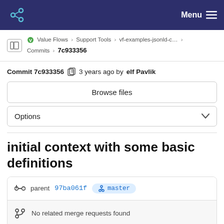Menu
Value Flows > Support Tools > vf-examples-jsonld-c... > Commits > 7c933356
Commit 7c933356  3 years ago by elf Pavlik
Browse files
Options
initial context with some basic definitions
parent 97ba061f  master
No related merge requests found